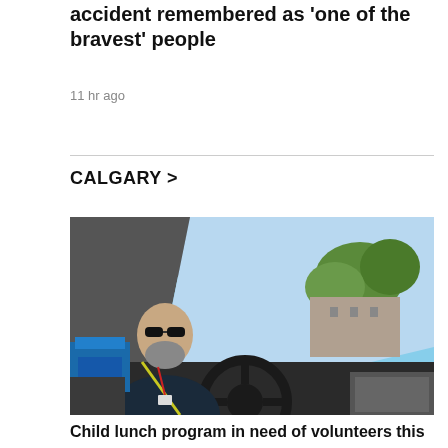accident remembered as 'one of the bravest' people
11 hr ago
CALGARY >
[Figure (photo): A bearded man wearing sunglasses and a lanyard sits in the driver's seat of a car, one hand on the steering wheel. Blue containers are visible in the back seat. Trees and blue sky are visible through the windshield.]
Child lunch program in need of volunteers this